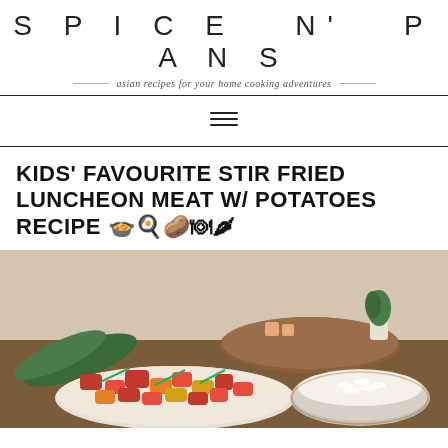SPICE N' PANS
asian recipes for your home cooking adventures
KIDS' FAVOURITE STIR FRIED LUNCHEON MEAT W/ POTATOES RECIPE 🥘🍳🥔🍽️🌶️
[Figure (photo): A plate of stir-fried luncheon meat with potatoes in red sauce, garnished with green onions, alongside a bowl of white rice. Set on a dining table with greenery and decor in the background.]